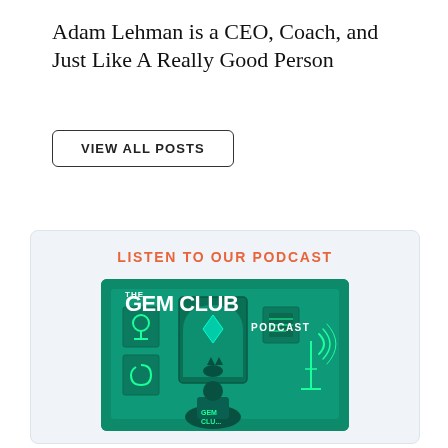Adam Lehman is a CEO, Coach, and Just Like A Really Good Person
VIEW ALL POSTS
LISTEN TO OUR PODCAST
[Figure (illustration): The Gem Club Podcast cover art — teal/green background with framed pictures on a wall, a figure seated, and radio tower imagery. Bold white text reads 'THE GEM CLUB PODCAST'.]